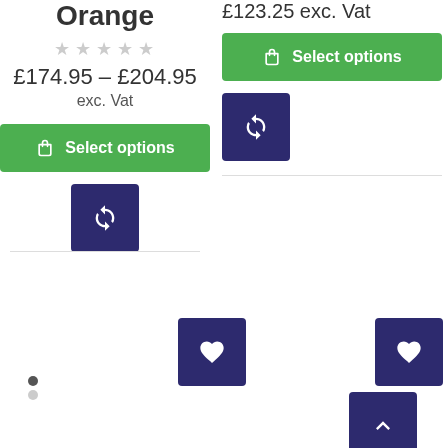Orange
★★★★★
£174.95 – £204.95
exc. Vat
Select options
£123.25 exc. Vat
Select options